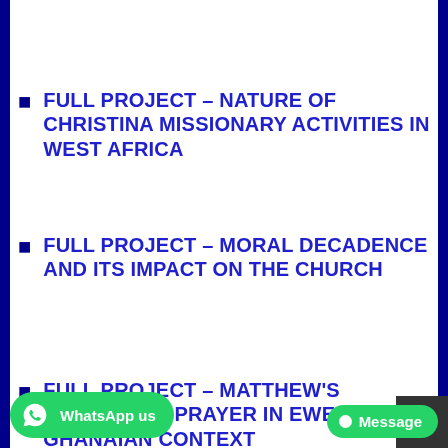FULL PROJECT – NATURE OF CHRISTINA MISSIONARY ACTIVITIES IN WEST AFRICA
FULL PROJECT – MORAL DECADENCE AND ITS IMPACT ON THE CHURCH
FULL PROJECT – MATTHEW'S VERSION OF PRAYER IN EWE-GHANAIAN CONTEXT